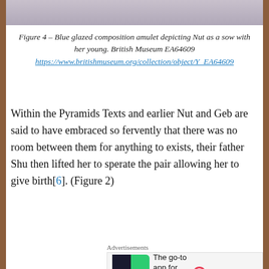[Figure (photo): Top portion of an image showing a blue glazed composition amulet, partially visible, gray/purple tones.]
Figure 4 – Blue glazed composition amulet depicting Nut as a sow with her young. British Museum EA64609
https://www.britishmuseum.org/collection/object/Y_EA64609
Within the Pyramids Texts and earlier Nut and Geb are said to have embraced so fervently that there was no room between them for anything to exists, their father Shu then lifted her to sperate the pair allowing her to give birth[6]. (Figure 2)
[Figure (screenshot): Advertisement: Pocket Casts app ad - 'The go-to app for podcast lovers.']
[Figure (screenshot): Advertisement: WordPress Hosting - 'WORDPRESS HOSTING THAT MEANS BUSINESS.']